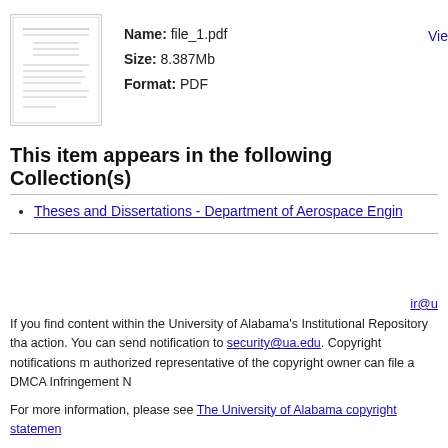[Figure (other): Thumbnail preview of file_1.pdf document]
Name: file_1.pdf
Size: 8.387Mb
Format: PDF
Vie
This item appears in the following Collection(s)
Theses and Dissertations - Department of Aerospace Engin...
ir@u
If you find content within the University of Alabama's Institutional Repository tha... action. You can send notification to security@ua.edu. Copyright notifications m... authorized representative of the copyright owner can file a DMCA Infringement N...
For more information, please see The University of Alabama copyright statemen...